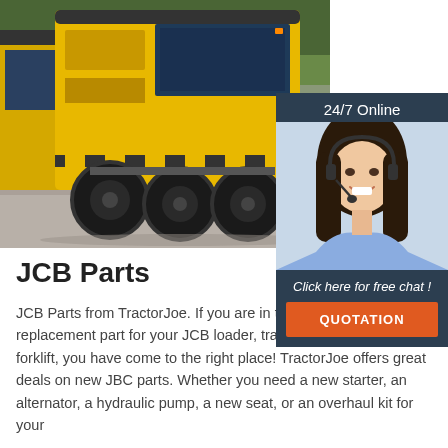[Figure (photo): Yellow construction road roller/compactor machinery parked on a concrete surface with trees in background. Multiple units visible.]
[Figure (photo): Customer service agent woman with headset, smiling. Overlay widget with '24/7 Online' text, 'Click here for free chat!' message and orange QUOTATION button on dark navy background.]
JCB Parts
JCB Parts from TractorJoe. If you are in the marketplace for a replacement part for your JCB loader, tractor, skidder, handler or forklift, you have come to the right place! TractorJoe offers great deals on new JBC parts. Whether you need a new starter, an alternator, a hydraulic pump, a new seat, or an overhaul kit for your